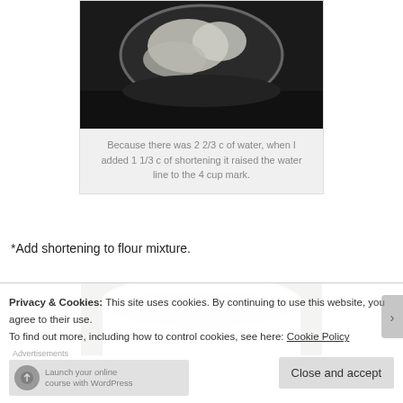[Figure (photo): Photo of shortening in a glass measuring cup, dark background]
Because there was 2 2/3 c of water, when I added 1 1/3 c of shortening it raised the water line to the 4 cup mark.
*Add shortening to flour mixture.
[Figure (photo): Photo of a white bowl with flour mixture, partially visible]
Privacy & Cookies: This site uses cookies. By continuing to use this website, you agree to their use.
To find out more, including how to control cookies, see here: Cookie Policy